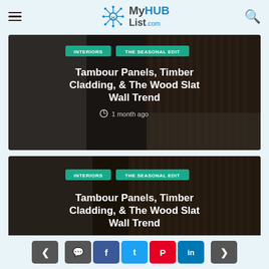MyHUBList.com
[Figure (photo): Interior room with wood slat wall panels, sofa with cushions, and a bare tree branch in a pot. Dark moody lighting. Tagged INTERIORS and THE SEASONAL EDIT. Title: Tambour Panels, Timber Cladding, & The Wood Slat Wall Trend. Time: 1 month ago.]
[Figure (photo): Interior room with wood slat wall panels, wall-mounted black lights, and bare tree branches. Dark moody lighting. Tagged INTERIORS and THE SEASONAL EDIT. Title: Tambour Panels, Timber Cladding, & The Wood Slat Wall Trend.]
< comment facebook twitter pinterest linkedin >